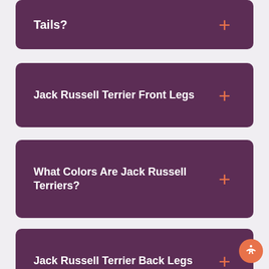Tails?
Jack Russell Terrier Front Legs
What Colors Are Jack Russell Terriers?
Jack Russell Terrier Back Legs